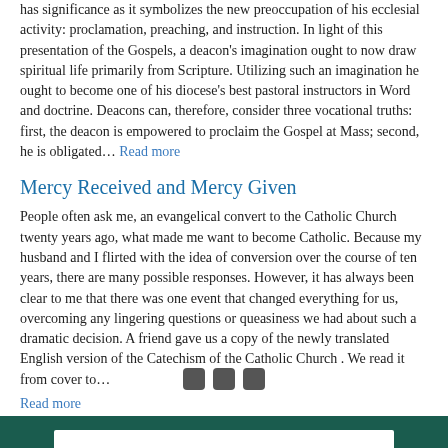has significance as it symbolizes the new preoccupation of his ecclesial activity: proclamation, preaching, and instruction. In light of this presentation of the Gospels, a deacon's imagination ought to now draw spiritual life primarily from Scripture. Utilizing such an imagination he ought to become one of his diocese's best pastoral instructors in Word and doctrine. Deacons can, therefore, consider three vocational truths: first, the deacon is empowered to proclaim the Gospel at Mass; second, he is obligated… Read more
Mercy Received and Mercy Given
People often ask me, an evangelical convert to the Catholic Church twenty years ago, what made me want to become Catholic. Because my husband and I flirted with the idea of conversion over the course of ten years, there are many possible responses. However, it has always been clear to me that there was one event that changed everything for us, overcoming any lingering questions or queasiness we had about such a dramatic decision. A friend gave us a copy of the newly translated English version of the Catechism of the Catholic Church . We read it from cover to… Read more